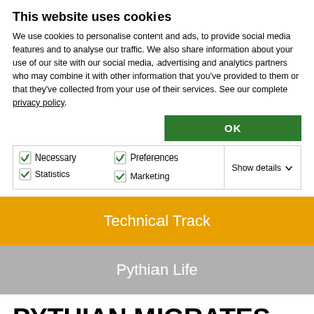This website uses cookies
We use cookies to personalise content and ads, to provide social media features and to analyse our traffic. We also share information about your use of our site with our social media, advertising and analytics partners who may combine it with other information that you've provided to them or that they've collected from your use of their services. See our complete privacy policy.
OK
Necessary  Preferences  Statistics  Marketing  Show details
Technical Track
Pythian Life
PYTHIAN MIGRATES COMPANY'S GLOBAL